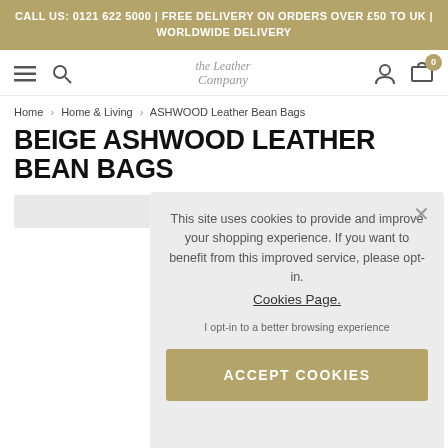CALL US: 0121 622 5000 | FREE DELIVERY ON ORDERS OVER £50 TO UK | WORLDWIDE DELIVERY
[Figure (screenshot): Website navigation bar with hamburger menu, search icon, The Leather Company logo, account icon, and cart icon with badge showing 0]
Home › Home & Living › ASHWOOD Leather Bean Bags
BEIGE ASHWOOD LEATHER BEAN BAGS
[Figure (screenshot): Cookie consent popup overlay with text: This site uses cookies to provide and improve your shopping experience. If you want to benefit from this improved service, please opt-in. Cookies Page. I opt-in to a better browsing experience. ACCEPT COOKIES button.]